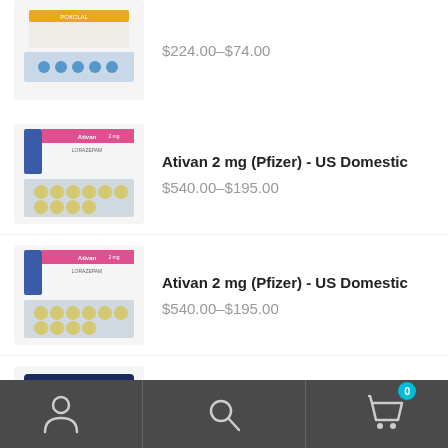[Figure (photo): Blister pack pill box product image (partially cut off at top) with orange label, shown with blue pills below]
$224.00–$74.00
[Figure (photo): Ativan 2mg Pfizer box with pink label and blister pack of yellow pills]
Ativan 2 mg (Pfizer) - US Domestic
$540.00–$195.00
[Figure (photo): Ativan 2mg Pfizer box with pink label and blister pack of yellow pills]
Ativan 2 mg (Pfizer) - US Domestic
$540.00–$195.00
[Figure (photo): Zopisign Zopiclone Tablets 10ml dark blue box]
Zopisign (Zopiclone) 10 mg - US Domestic
Account | Search | Cart (0)